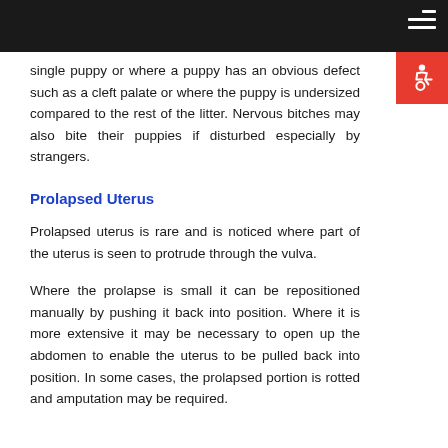single puppy or where a puppy has an obvious defect such as a cleft palate or where the puppy is undersized compared to the rest of the litter. Nervous bitches may also bite their puppies if disturbed especially by strangers.
Prolapsed Uterus
Prolapsed uterus is rare and is noticed where part of the uterus is seen to protrude through the vulva.
Where the prolapse is small it can be repositioned manually by pushing it back into position. Where it is more extensive it may be necessary to open up the abdomen to enable the uterus to be pulled back into position. In some cases, the prolapsed portion is rotted and amputation may be required.